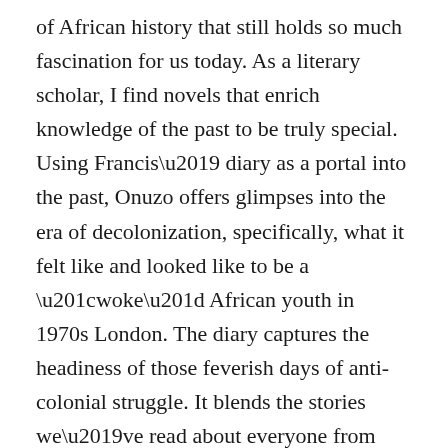of African history that still holds so much fascination for us today. As a literary scholar, I find novels that enrich knowledge of the past to be truly special. Using Francis’ diary as a portal into the past, Onuzo offers glimpses into the era of decolonization, specifically, what it felt like and looked like to be a “woke” African youth in 1970s London. The diary captures the headiness of those feverish days of anti-colonial struggle. It blends the stories we’ve read about everyone from Jomo Kenyatta to Kwame Nkrumah, young men who came of age in the decolonization struggle. The novel details their journey to political awareness and artfully represents the pan-African